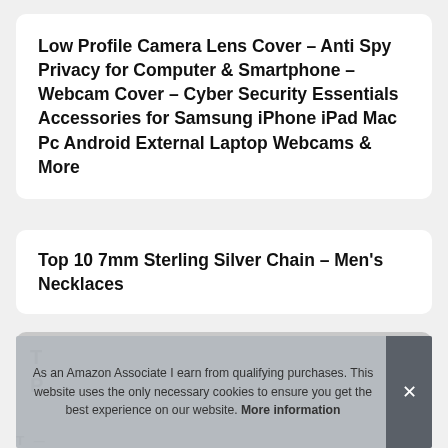Low Profile Camera Lens Cover – Anti Spy Privacy for Computer & Smartphone – Webcam Cover – Cyber Security Essentials Accessories for Samsung iPhone iPad Mac Pc Android External Laptop Webcams & More
Top 10 7mm Sterling Silver Chain – Men's Necklaces
As an Amazon Associate I earn from qualifying purchases. This website uses the only necessary cookies to ensure you get the best experience on our website. More information